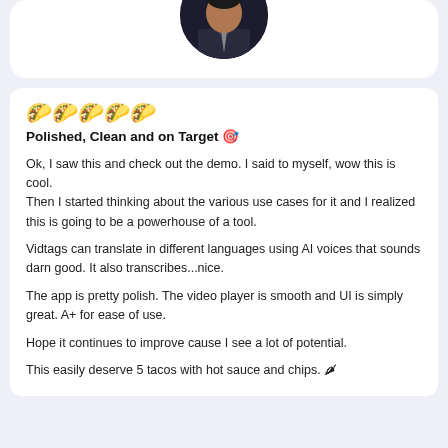[Figure (photo): Circular profile photo of a person in a dark suit with a tie, cropped at the top, against a white card background.]
🌮🌮🌮🌮🌮
Polished, Clean and on Target 🎯
Ok, I saw this and check out the demo. I said to myself, wow this is cool.
Then I started thinking about the various use cases for it and I realized this is going to be a powerhouse of a tool.

Vidtags can translate in different languages using AI voices that sounds darn good. It also transcribes...nice.

The app is pretty polish. The video player is smooth and UI is simply great. A+ for ease of use.

Hope it continues to improve cause I see a lot of potential.

This easily deserve 5 tacos with hot sauce and chips. 🌶